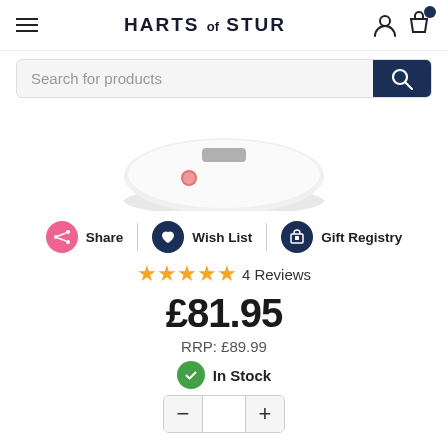HARTS of STUR
Search for products
[Figure (photo): White circular kitchen scale with a red button and silver top, partially visible, cropped view]
Share | Wish List | Gift Registry
4 Reviews
£81.95
RRP: £89.99
In Stock